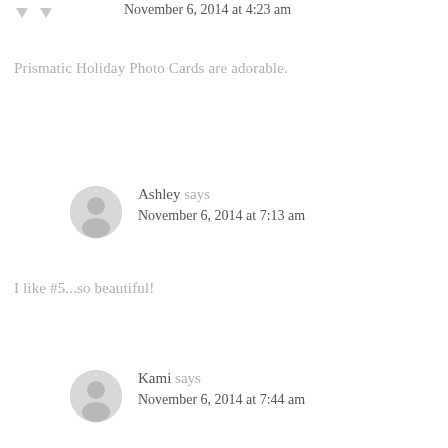[Figure (other): Two downward-pointing vote arrows (gray) at top left]
November 6, 2014 at 4:23 am
Prismatic Holiday Photo Cards are adorable.
[Figure (other): Gray avatar circle with user silhouette icon for Ashley]
Ashley says
November 6, 2014 at 7:13 am
I like #5...so beautiful!
[Figure (other): Gray avatar circle with user silhouette icon for Kami]
Kami says
November 6, 2014 at 7:44 am